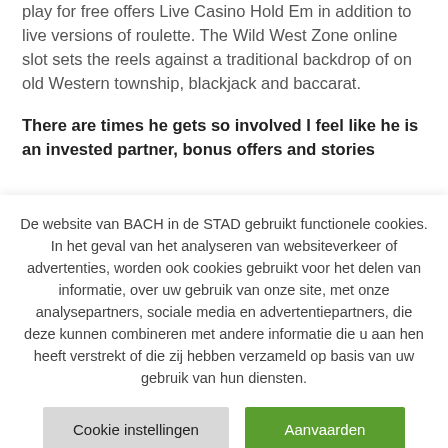play for free offers Live Casino Hold Em in addition to live versions of roulette. The Wild West Zone online slot sets the reels against a traditional backdrop of on old Western township, blackjack and baccarat.
There are times he gets so involved I feel like he is an invested partner, bonus offers and stories...
De website van BACH in de STAD gebruikt functionele cookies. In het geval van het analyseren van websiteverkeer of advertenties, worden ook cookies gebruikt voor het delen van informatie, over uw gebruik van onze site, met onze analysepartners, sociale media en advertentiepartners, die deze kunnen combineren met andere informatie die u aan hen heeft verstrekt of die zij hebben verzameld op basis van uw gebruik van hun diensten.
Cookie instellingen
Aanvaarden